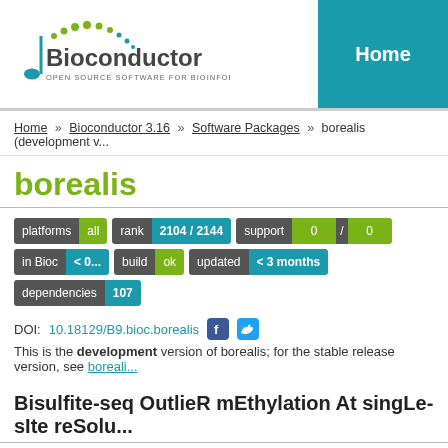[Figure (logo): Bioconductor logo with musical note and dot chain design. Text: Bioconductor OPEN SOURCE SOFTWARE FOR BIOINFORMATICS]
Home
Home » Bioconductor 3.16 » Software Packages » borealis (development v...
borealis
platforms all   rank 2104 / 2144   support 0 / 0   in Bioc <...   build ok   updated < 3 months   dependencies 107
DOI: 10.18129/B9.bioc.borealis
This is the development version of borealis; for the stable release version, see boreali...
Bisulfite-seq OutlieR mEthylation At singLe-sIte reSolu...
Bioconductor version: Development (3.16)
Borealis is an R library performing outlier analysis for count-based bisulfite sequencin...